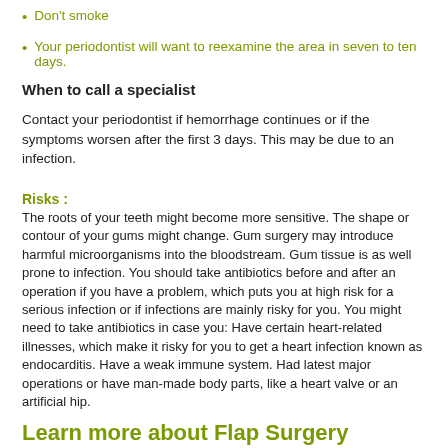Don't smoke
Your periodontist will want to reexamine the area in seven to ten days.
When to call a specialist
Contact your periodontist if hemorrhage continues or if the symptoms worsen after the first 3 days. This may be due to an infection.
Risks :
The roots of your teeth might become more sensitive. The shape or contour of your gums might change. Gum surgery may introduce harmful microorganisms into the bloodstream. Gum tissue is as well prone to infection. You should take antibiotics before and after an operation if you have a problem, which puts you at high risk for a serious infection or if infections are mainly risky for you. You might need to take antibiotics in case you: Have certain heart-related illnesses, which make it risky for you to get a heart infection known as endocarditis. Have a weak immune system. Had latest major operations or have man-made body parts, like a heart valve or an artificial hip.
Learn more about Flap Surgery